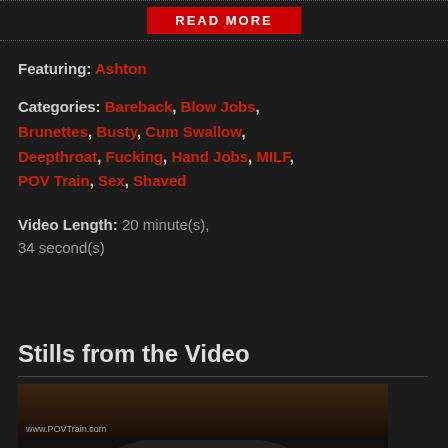READ MORE
Featuring: Ashton
Categories: Bareback, Blow Jobs, Brunettes, Busty, Cum Swallow, Deepthroat, Fucking, Hand Jobs, MILF, POV Train, Sex, Shaved
Video Length: 20 minute(s), 34 second(s)
Stills from the Video
[Figure (photo): Video still showing adult content with watermark www.POVTrain.com]
[Figure (photo): Partial video still showing dark hair]